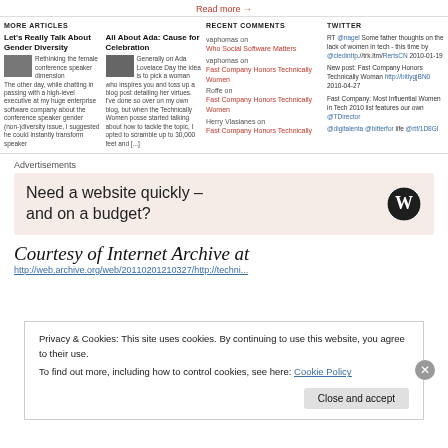Read more →
MORE ARTICLES
Let's Really Talk About Gender Diversity
Rethinking the female conference speaker dimension The other day, while chatting in passing with a high-level executive at my huge enterprise software company about the conference speaker gender (non-)diversity issue, I suggested he could instantly transform speaker
All About Ada: Cause for Celebration
Generally on Ada Lovelace Day the idea is to pick a woman who inspires you and toss up a blog post detailing her virtues. I've done so over on my own blog, but when the Technically Women posse started talking about how to tackle the topic, I opted to scramble up to 30,000 feet and [...]
RECENT COMMENTS
vaphomas on Who Social Software Matters
vaphomas on Fast Company Honors Technically Women
Roffe on Fast Company Honors Technically Women
Herry Vlasianes on Fast Company Honors Technically
TWITTER
RT @nagel Some father thoughts on the lack of women in tech - this time by @cledinttp.//trk.ltm/RertsCN 2010-01-19
New post: Fast Company Honors Technically Woman http://bitlygjBN0 2010-04-27
Fast Company: Most Influential Women in Tech 2010 list features our own @TDirector
@digitalenta @bitterfor life @rtf/1D8GI
Advertisements
[Figure (other): WordPress advertisement banner: 'Need a website quickly – and on a budget?' with WordPress logo]
Courtesy of Internet Archive at
http://web.archive.org/web/20110201210327/http://techni...
Privacy & Cookies: This site uses cookies. By continuing to use this website, you agree to their use.
To find out more, including how to control cookies, see here: Cookie Policy
Close and accept